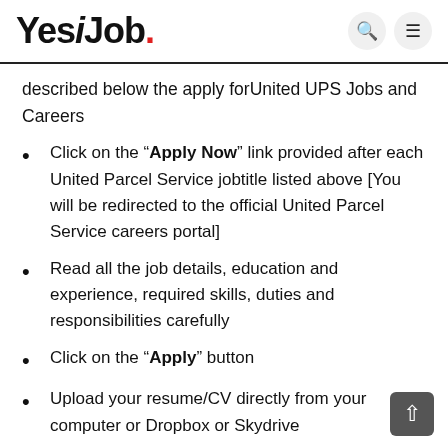YesiJob.
described below the apply forUnited UPS Jobs and Careers
Click on the "Apply Now" link provided after each United Parcel Service jobtitle listed above [You will be redirected to the official United Parcel Service careers portal]
Read all the job details, education and experience, required skills, duties and responsibilities carefully
Click on the "Apply" button
Upload your resume/CV directly from your computer or Dropbox or Skydrive